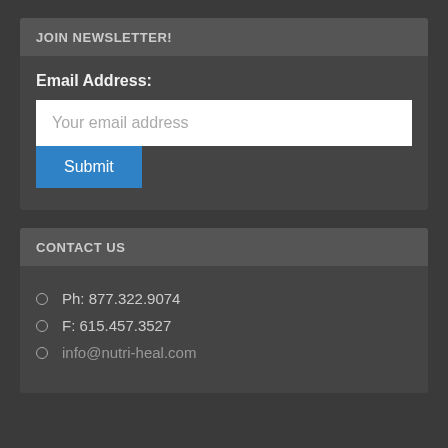JOIN NEWSLETTER!
Email Address:
Your email address
Submit
CONTACT US
Ph: 877.322.9074
F: 615.457.3527
info@nutri-heal.com